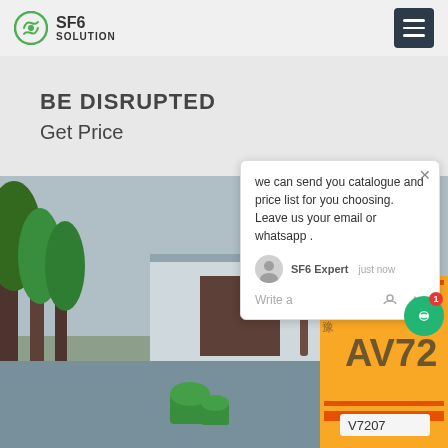SF6 SOLUTION
BE DISRUPTED
Get Price
we can send you catalogue and price list for you choosing. Leave us your email or whatsapp .
SF6 Expert   just now
Write a
[Figure (photo): Outdoor photo of a factory entrance with trees on the left and a yellow delivery truck on the right, taken on an overcast day]